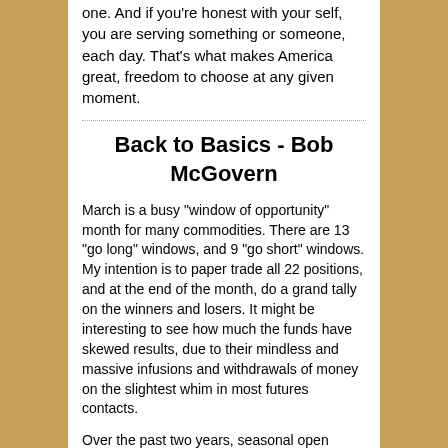one. And if you're honest with your self, you are serving something or someone, each day. That's what makes America great, freedom to choose at any given moment.
Back to Basics - Bob McGovern
March is a busy "window of opportunity" month for many commodities. There are 13 "go long" windows, and 9 "go short" windows. My intention is to paper trade all 22 positions, and at the end of the month, do a grand tally on the winners and losers. It might be interesting to see how much the funds have skewed results, due to their mindless and massive infusions and withdrawals of money on the slightest whim in most futures contacts.
Over the past two years, seasonal open positions and spreads have displayed a disturbing contrariness when considered in the light of historical patterns. My opinion...